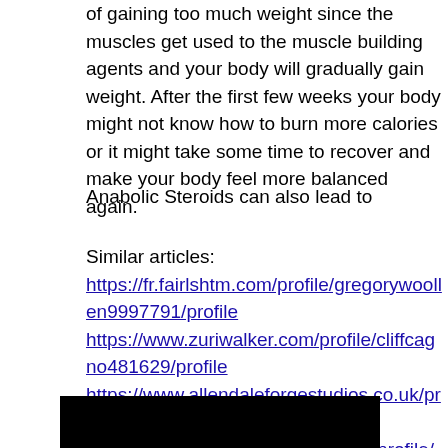of gaining too much weight since the muscles get used to the muscle building agents and your body will gradually gain weight. After the first few weeks your body might not know how to burn more calories or it might take some time to recover and make your body feel more balanced again.
Anabolic Steroids can also lead to
Similar articles:
https://fr.fairlshtm.com/profile/gregorywoollen9997791/profile
https://www.zuriwalker.com/profile/cliffcagno481629/profile
https://www.allendaleforgestudios.co.uk/profile/ivaroher351132/profile
https://www.mindfulhealthmty.com/profile/emilythistlethwait13740551/profile
[Figure (other): Black rectangle at bottom of page]